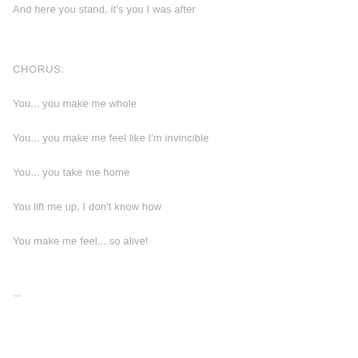And here you stand, it's you I was after
CHORUS:
You... you make me whole
You... you make me feel like I'm invincible
You... you take me home
You lift me up, I don't know how
You make me feel... so alive!
...